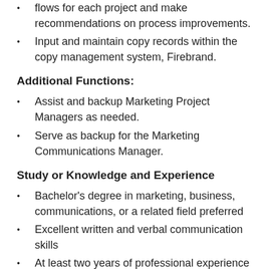flows for each project and make recommendations on process improvements.
Input and maintain copy records within the copy management system, Firebrand.
Additional Functions:
Assist and backup Marketing Project Managers as needed.
Serve as backup for the Marketing Communications Manager.
Study or Knowledge and Experience
Bachelor's degree in marketing, business, communications, or a related field preferred
Excellent written and verbal communication skills
At least two years of professional experience in writing promotional copy
Must be creative and imaginative in expressing